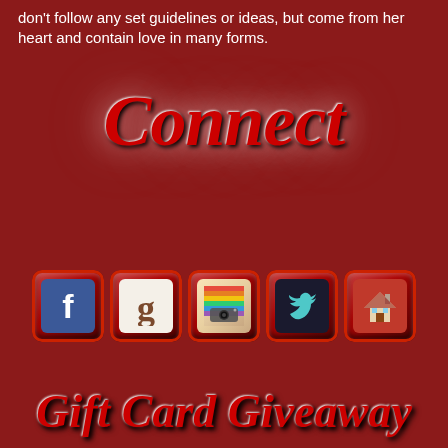don't follow any set guidelines or ideas, but come from her heart and contain love in many forms.
Connect
[Figure (infographic): Five social media icon buttons on red keyboard-style keys: Facebook (f), Goodreads (g), Instagram (camera), Twitter (bird), and a house/home icon]
Gift Card Giveaway